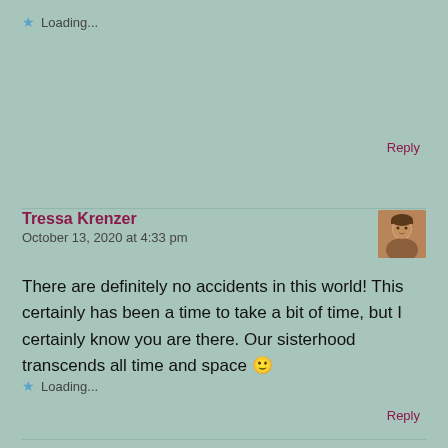★ Loading...
Reply
Tressa Krenzer
October 13, 2020 at 4:33 pm
There are definitely no accidents in this world! This certainly has been a time to take a bit of time, but I certainly know you are there. Our sisterhood transcends all time and space 🙂
★ Loading...
Reply